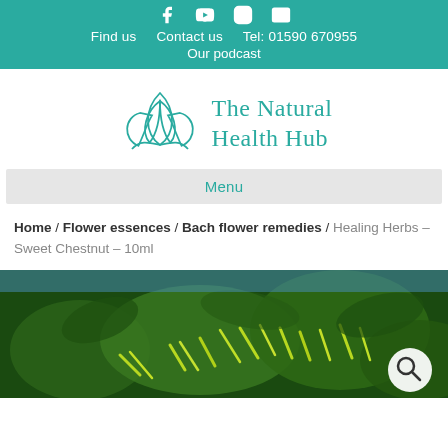Social icons: Facebook, YouTube, Instagram, Email | Find us  Contact us  Tel: 01590 670955 | Our podcast
[Figure (logo): The Natural Health Hub logo with teal lotus flower and text]
Menu
Home / Flower essences / Bach flower remedies / Healing Herbs – Sweet Chestnut – 10ml
[Figure (photo): Close-up photo of chestnut tree with yellow-green catkins and dark green leaves]